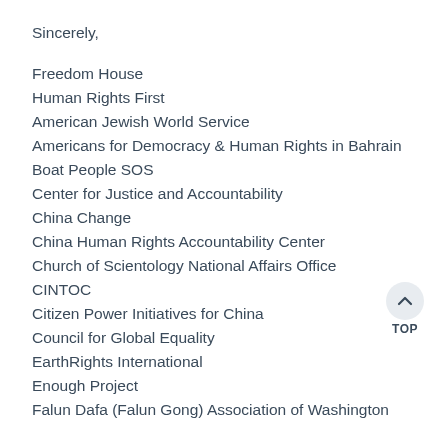Sincerely,
Freedom House
Human Rights First
American Jewish World Service
Americans for Democracy & Human Rights in Bahrain
Boat People SOS
Center for Justice and Accountability
China Change
China Human Rights Accountability Center
Church of Scientology National Affairs Office
CINTOC
Citizen Power Initiatives for China
Council for Global Equality
EarthRights International
Enough Project
Falun Dafa (Falun Gong) Association of Washington